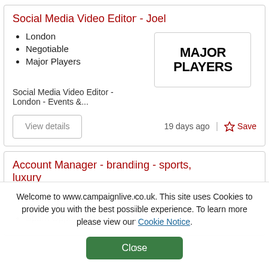Social Media Video Editor - Joel
London
Negotiable
Major Players
[Figure (logo): Major Players logo — bold black text reading MAJOR PLAYERS in two lines]
Social Media Video Editor - London - Events &...
View details
19 days ago
Save
Account Manager - branding - sports, luxury
£32-42k+ dependent on experience
Spark Opportunities
Welcome to www.campaignlive.co.uk. This site uses Cookies to provide you with the best possible experience. To learn more please view our Cookie Notice.
Close